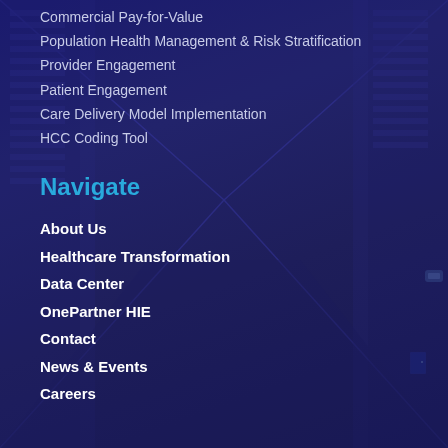Commercial Pay-for-Value
Population Health Management & Risk Stratification
Provider Engagement
Patient Engagement
Care Delivery Model Implementation
HCC Coding Tool
Navigate
About Us
Healthcare Transformation
Data Center
OnePartner HIE
Contact
News & Events
Careers